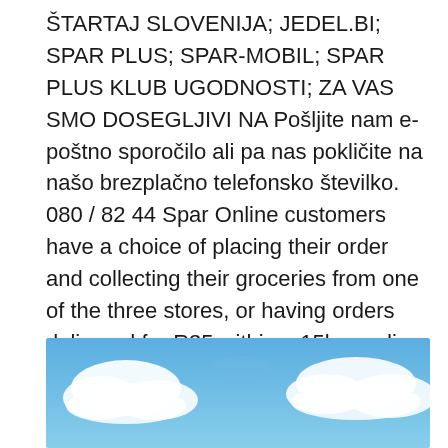ŠTARTAJ SLOVENIJA; JEDEL.BI; SPAR PLUS; SPAR-MOBIL; SPAR PLUS KLUB UGODNOSTI; ZA VAS SMO DOSEGLJIVI NA Pošljite nam e-poštno sporočilo ali pa nas pokličite na našo brezplačno telefonsko številko. 080 / 82 44 Spar Online customers have a choice of placing their order and collecting their groceries from one of the three stores, or having orders delivered for R35 within a 15km radius of the selected store. 2020-09-18 With more than 850 stores nationwide there's always a SPAR to meet all your shopping needs. Our SUPERSPARs are priced right and offer a wide variety of products and fresh foods to meet the needs of weekly and monthly family shopping.
[Figure (photo): Partial photo of a blue sky with white clouds, cropped at bottom of page]